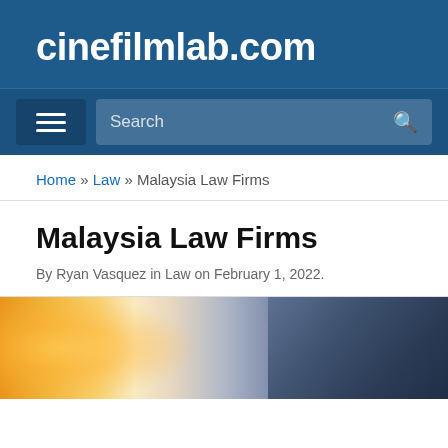cinefilmlab.com
Search
Home » Law » Malaysia Law Firms
Malaysia Law Firms
By Ryan Vasquez in Law on February 1, 2022.
[Figure (photo): Blurred photo of a business professional, possibly a lawyer, with warm orange/yellow light on the left and a dark suited figure on the right]